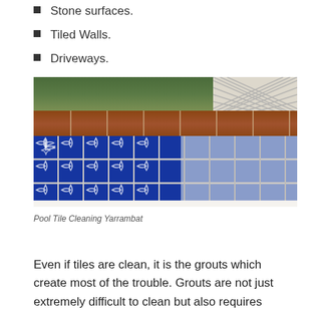Stone surfaces.
Tiled Walls.
Driveways.
[Figure (photo): Photo of a pool with blue decorative tiles and terracotta brick coping along the top edge, showing calcium/efflorescence buildup on the right side of the tiles. Lattice fence and garden visible in the background.]
Pool Tile Cleaning Yarrambat
Even if tiles are clean, it is the grouts which create most of the trouble. Grouts are not just extremely difficult to clean but also requires patience. It can